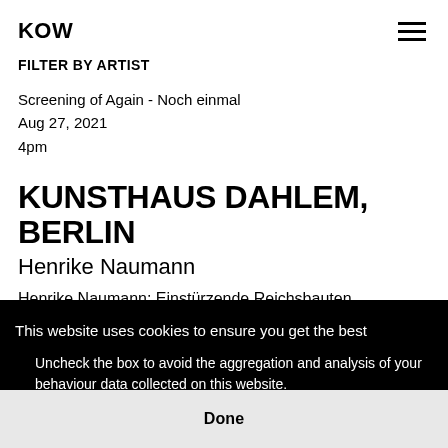KOW
FILTER BY ARTIST
Screening of Again - Noch einmal
Aug 27, 2021
4pm
KUNSTHAUS DAHLEM, BERLIN
Henrike Naumann
Henrike Naumann: Einstürzende Reichsbauten
This website uses cookies to ensure you get the best
Uncheck the box to avoid the aggregation and analysis of your behaviour data collected on this website.
Done